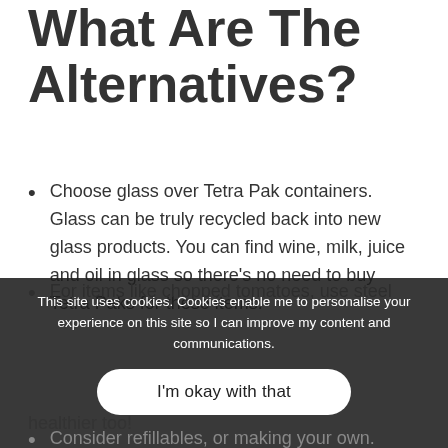Tetra Paks — What Are The Alternatives?
Choose glass over Tetra Pak containers. Glass can be truly recycled back into new glass products. You can find wine, milk, juice and oil in glass so there's no need to buy Tetra Paks for these items.
For items like chopped tomatoes, use steel...
This site uses cookies. Cookies enable me to personalise your experience on this site so I can improve my content and communications.
Consider refillables, or making your own. Juicing your own... pasteurized syrupy juice in cartons, and healthier too!